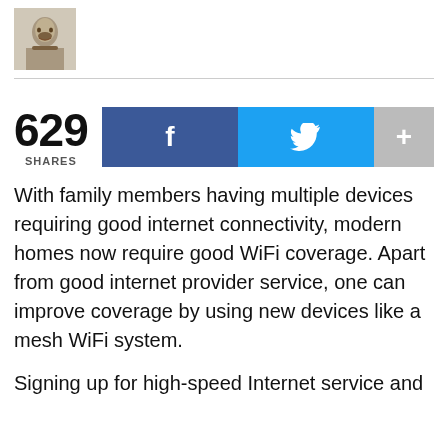[Figure (photo): Small portrait photo of a person with a beard, black and white]
629 SHARES
[Figure (infographic): Social share buttons: Facebook (blue), Twitter (cyan), More (gray +)]
With family members having multiple devices requiring good internet connectivity, modern homes now require good WiFi coverage. Apart from good internet provider service, one can improve coverage by using new devices like a mesh WiFi system.
Signing up for high-speed Internet service and